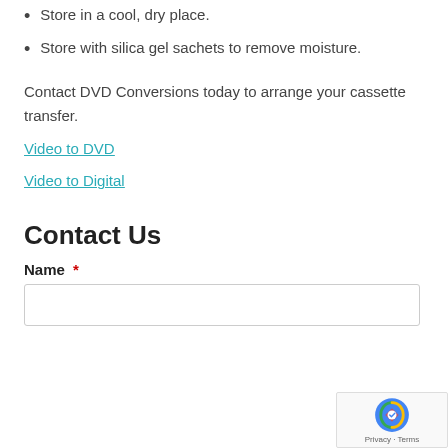Store in a cool, dry place.
Store with silica gel sachets to remove moisture.
Contact DVD Conversions today to arrange your cassette transfer.
Video to DVD
Video to Digital
Contact Us
Name *
[Figure (other): reCAPTCHA badge with Privacy and Terms links]